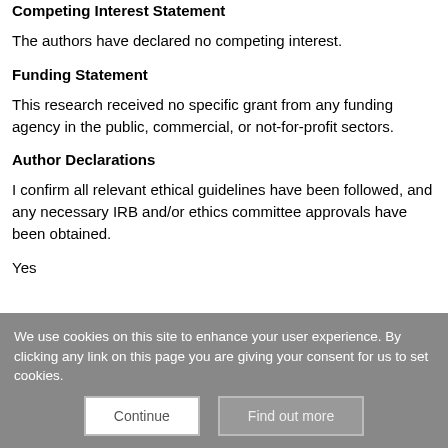Competing Interest Statement
The authors have declared no competing interest.
Funding Statement
This research received no specific grant from any funding agency in the public, commercial, or not-for-profit sectors.
Author Declarations
I confirm all relevant ethical guidelines have been followed, and any necessary IRB and/or ethics committee approvals have been obtained.
Yes
We use cookies on this site to enhance your user experience. By clicking any link on this page you are giving your consent for us to set cookies.